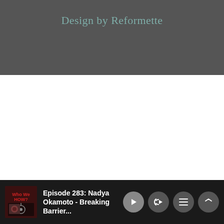Design by Reformette
[Figure (screenshot): White blank content area below dark header]
Episode 283: Nadya Okamoto - Breaking Barrier...